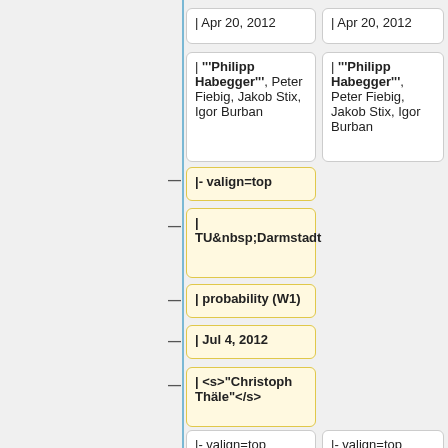| Apr 20, 2012
| Apr 20, 2012
| '''Philipp Habegger''', Peter Fiebig, Jakob Stix, Igor Burban
| '''Philipp Habegger''', Peter Fiebig, Jakob Stix, Igor Burban
|- valign=top
|
TU&nbsp;Darmstadt
| probability (W1)
| Jul 4, 2012
| <s>"Christoph Thäle"</s>
|- valign=top
|- valign=top
|
TU&nbsp;Darmstadt
|
TU&nbsp;Darmstadt